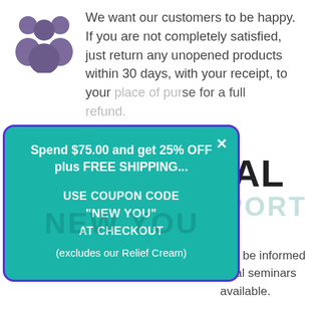[Figure (illustration): Purple silhouette icon of a group of people (customers)]
We want our customers to be happy. If you are not completely satisfied, just return any unopened products within 30 days, with your receipt, to your place of purchase for a full refund.
Spend $75.00 and get 25% OFF plus FREE SHIPPING... USE COUPON CODE "NEW YOU" AT CHECKOUT (excludes our Relief Cream)
We like our customers to be informed about our products. Local seminars and online support available.